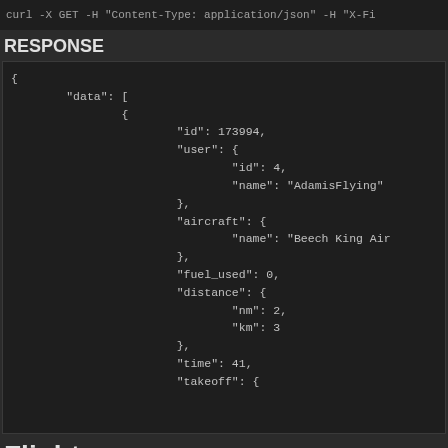curl -X GET -H "Content-Type: application/json" -H "X-Fi
RESPONSE
{
        "data": [
                {
                        "id": 173994,
                        "user": {
                                "id": 4,
                                "name": "AdamisFlying"
                        },
                        "aircraft": {
                                "name": "Beech King Air
                        },
                        "fuel_used": 0,
                        "distance": {
                                "nm": 2,
                                "km": 3
                        },
                        "time": 41,
                        "takeoff": {
Flight